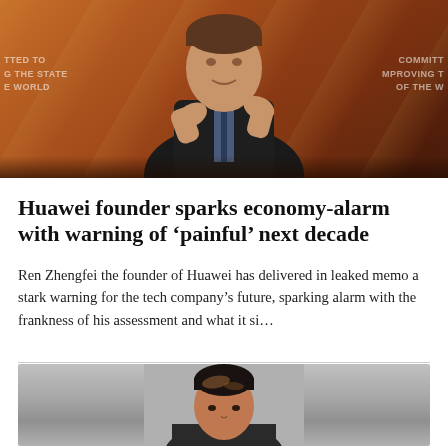[Figure (photo): Ren Zhengfei, founder of Huawei, photographed at the World Economic Forum gesturing with crossed hands against a WEF branded orange background]
Huawei founder sparks economy-alarm with warning of ‘painful’ next decade
Ren Zhengfei the founder of Huawei has delivered in leaked memo a stark warning for the tech company’s future, sparking alarm with the frankness of his assessment and what it si…
[Figure (photo): Close-up portrait of a person with dark hair against a grey background]